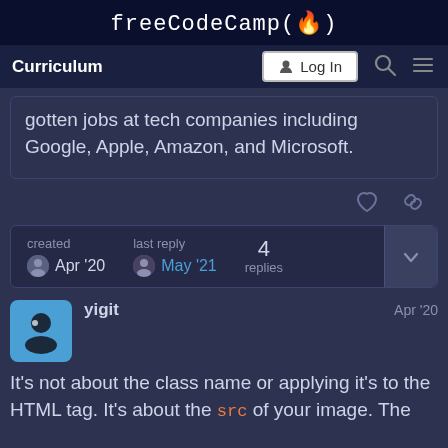freeCodeCamp(🔥)
Curriculum  Log In
gotten jobs at tech companies including Google, Apple, Amazon, and Microsoft.
created Apr '20   last reply May '21   4 replies
yigit   Apr '20
It's not about the class name or applying it's to the HTML tag. It's about the src of your image. The